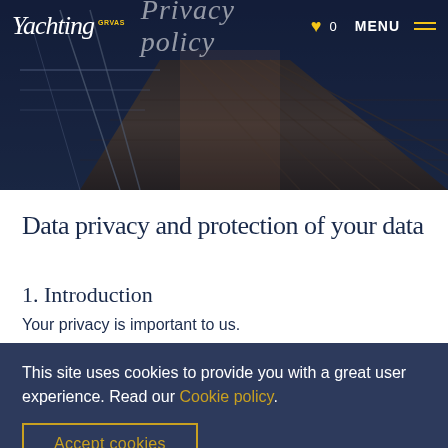[Figure (photo): Hero image of a sailing yacht deck with ropes and wooden planking, dark blue overlay. Navigation bar with Yachting logo, 'Privacy policy' title, heart icon with 0, and MENU hamburger button.]
Data privacy and protection of your data
1. Introduction
Your privacy is important to us.
This site uses cookies to provide you with a great user experience. Read our Cookie policy.
Accept cookies